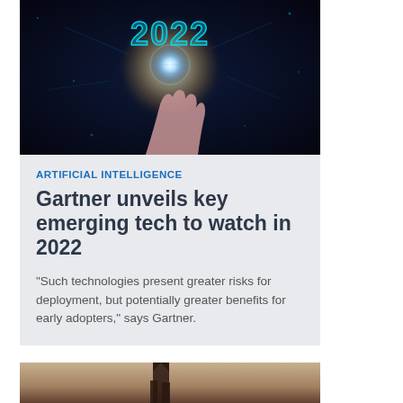[Figure (photo): Dark background with glowing cyan/blue digital '2022' text and a hand reaching upward with a glowing spherical orb]
ARTIFICIAL INTELLIGENCE
Gartner unveils key emerging tech to watch in 2022
"Such technologies present greater risks for deployment, but potentially greater benefits for early adopters," says Gartner.
[Figure (photo): Partial view of a person standing, bottom portion of image cut off, warm tones]